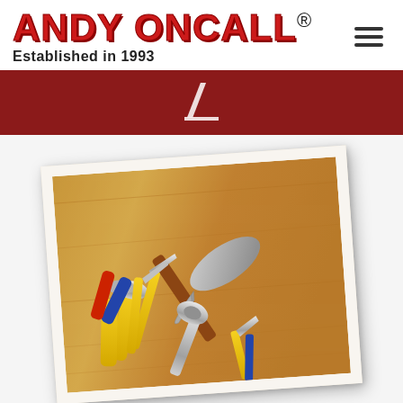ANDY ONCALL® Established in 1993
[Figure (other): Dark red banner with a partial white slash/number and white underline accent]
[Figure (photo): Polaroid-style rotated photo of various hand tools (hammer, pliers, wrench, screwdrivers) laid on a wooden surface]